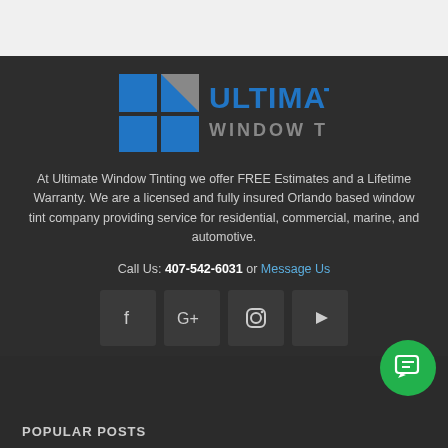[Figure (logo): Ultimate Window Tinting logo — four blue squares arranged in a 2x2 grid with a grey triangle accent, followed by the text ULTIMATE in blue and WINDOW TINTING in grey]
At Ultimate Window Tinting we offer FREE Estimates and a Lifetime Warranty. We are a licensed and fully insured Orlando based window tint company providing service for residential, commercial, marine, and automotive.
Call Us: 407-542-6031 or Message Us
[Figure (other): Row of four social media icon buttons: Facebook (f), Google+ (G+), Instagram (camera), YouTube (play triangle)]
[Figure (other): Green circular chat/message button in bottom right corner]
POPULAR POSTS